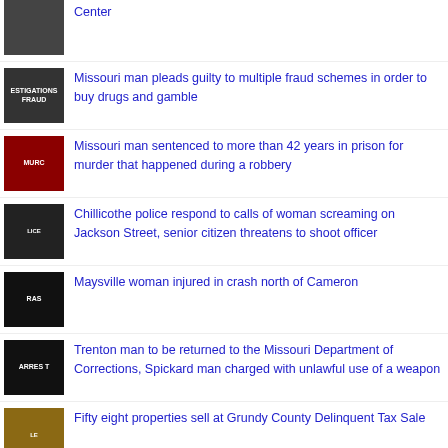Center
Missouri man pleads guilty to multiple fraud schemes in order to buy drugs and gamble
Missouri man sentenced to more than 42 years in prison for murder that happened during a robbery
Chillicothe police respond to calls of woman screaming on Jackson Street, senior citizen threatens to shoot officer
Maysville woman injured in crash north of Cameron
Trenton man to be returned to the Missouri Department of Corrections, Spickard man charged with unlawful use of a weapon
Fifty eight properties sell at Grundy County Delinquent Tax Sale
State Senator Dan Hegeman asking Missourians to "Think Carefully" when voting on recreational